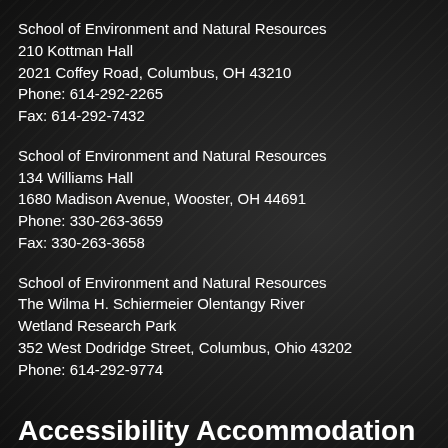School of Environment and Natural Resources
210 Kottman Hall
2021 Coffey Road, Columbus, OH 43210
Phone: 614-292-2265
Fax: 614-292-7432
School of Environment and Natural Resources
134 Williams Hall
1680 Madison Avenue, Wooster, OH 44691
Phone: 330-263-3659
Fax: 330-263-3658
School of Environment and Natural Resources
The Wilma H. Schiermeier Olentangy River Wetland Research Park
352 West Dodridge Street, Columbus, Ohio 43202
Phone: 614-292-9774
Accessibility Accommodation